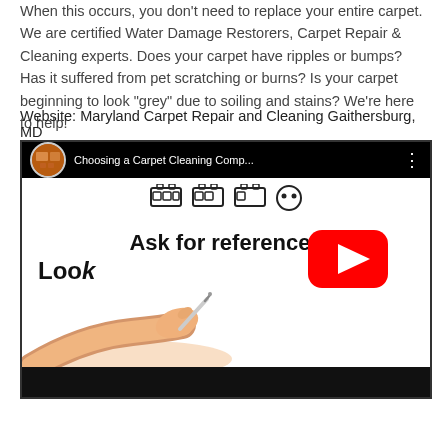When this occurs, you don't need to replace your entire carpet. We are certified Water Damage Restorers, Carpet Repair & Cleaning experts. Does your carpet have ripples or bumps? Has it suffered from pet scratching or burns? Is your carpet beginning to look "grey" due to soiling and stains? We're here to help!
Website: Maryland Carpet Repair and Cleaning Gaithersburg, MD
[Figure (screenshot): YouTube video embed screenshot showing 'Choosing a Carpet Cleaning Comp...' with text 'Ask for references' and 'Look' visible, YouTube play button overlay, and a hand holding a pen in the lower left.]